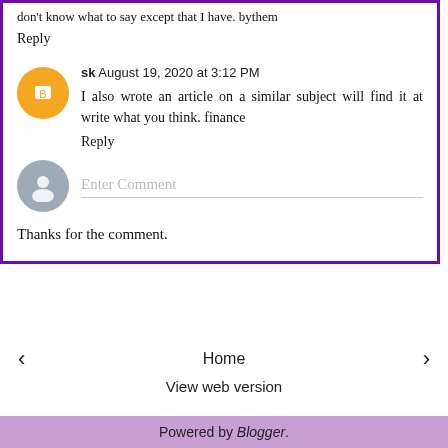don't know what to say except that I have. bythem
Reply
sk  August 19, 2020 at 3:12 PM
I also wrote an article on a similar subject will find it at write what you think. finance
Reply
Enter Comment
Thanks for the comment.
‹  Home  ›
View web version
Powered by Blogger.